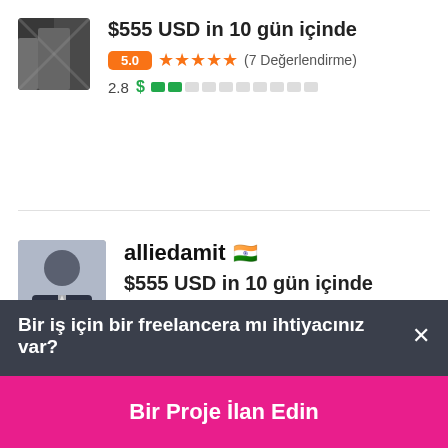$555 USD in 10 gün içinde
5.0 ★★★★★ (7 Değerlendirme)
2.8 $ ■■□□□□□□□□
alliedamit 🇮🇳
$555 USD in 10 gün içinde
3.4 ★★★½☆ (14 Değerlendirme)
4.1 $ ■■■■□□□□□□
Bir iş için bir freelancera mı ihtiyacınız var? ×
Bir Proje İlan Edin